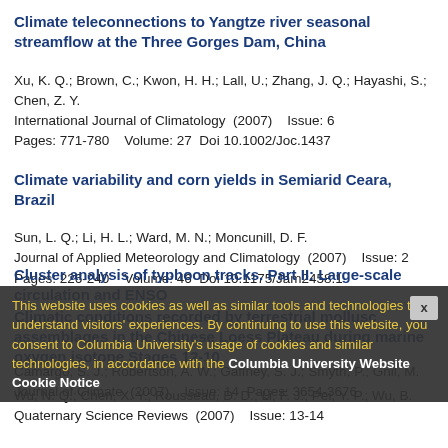Climate teleconnections to Yangtze river seasonal streamflow at the Three Gorges Dam, China
Xu, K. Q.; Brown, C.; Kwon, H. H.; Lall, U.; Zhang, J. Q.; Hayashi, S.; Chen, Z. Y.
International Journal of Climatology  (2007)    Issue: 6
Pages: 771-780    Volume: 27  Doi 10.1002/Joc.1437
Climate variability and corn yields in Semiarid Ceara, Brazil
Sun, L. Q.; Li, H. L.; Ward, M. N.; Moncunill, D. F.
Journal of Applied Meteorology and Climatology  (2007)    Issue: 2
Pages: 226-240    Volume: 46  Doi 10.1175/Jam2458.1
Climatic conditions recorded by terrestrial mollusc assemblages in the Chinese Loess Plateau during marine oxygen isotope Stages 12-10
Wu, N. Q.; Chen, X. Y.; Rousseau, D. D.; Li, F. J.; Pei, Y. P.; Wu, B.
Quaternary Science Reviews  (2007)    Issue: 13-14
Cluster analysis of typhoon tracks. Part II: Large-scale circulation and ENSO
Camargo, S. J.; Robertson, A. W.; Gaffney, S. J.; Smyth, P.; Ghil, M.
Journal of Climate  (2007)    Issue: 14  Pages: 3654-3676
This website uses cookies as well as similar tools and technologies to understand visitors' experiences. By continuing to use this website, you consent to Columbia University's usage of cookies and similar technologies, in accordance with the Columbia University Website Cookie Notice